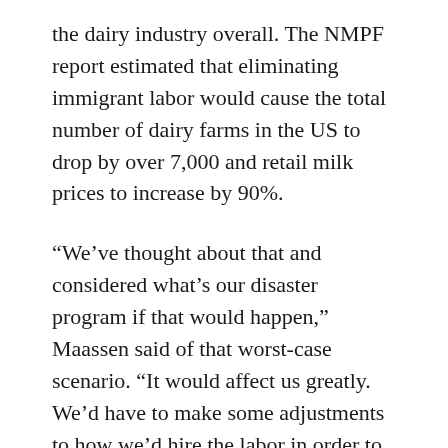the dairy industry overall. The NMPF report estimated that eliminating immigrant labor would cause the total number of dairy farms in the US to drop by over 7,000 and retail milk prices to increase by 90%.
“We’ve thought about that and considered what’s our disaster program if that would happen,” Maassen said of that worst-case scenario. “It would affect us greatly. We’d have to make some adjustments to how we’d hire the labor in order to do it. We’d have to switch over to all robots.”
Some dairy farms around the US have installed robotic milking machines to eliminate the